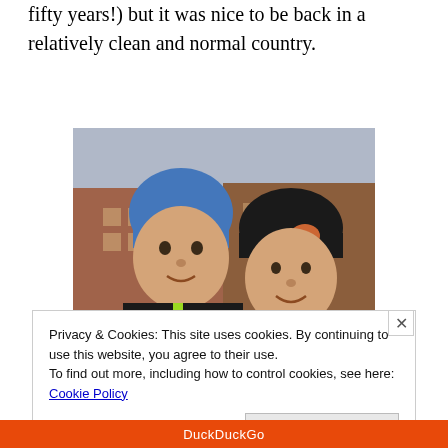fifty years!) but it was nice to be back in a relatively clean and normal country.
[Figure (photo): Two people in winter hats and jackets taking a selfie outdoors on a city street with red brick buildings in the background.]
Privacy & Cookies: This site uses cookies. By continuing to use this website, you agree to their use.
To find out more, including how to control cookies, see here: Cookie Policy
[Close and accept button]
DuckDuckGo